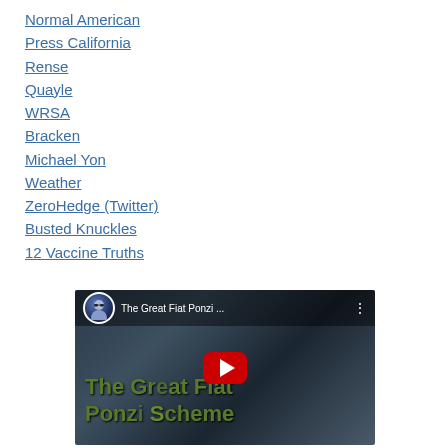Normal American
Press California
Rense
Quayle
WRSA
Bracken
Michael Yon
Weather
ZeroHedge (Twitter)
Busted Knuckles
12 Vaccine Truths
[Figure (screenshot): YouTube video thumbnail for 'The Great Fiat Ponzi ...' showing an animated character avatar, red YouTube play button, and text 'The Great Fiat Ponzi Scheme' overlaid on a dark city skyline background]